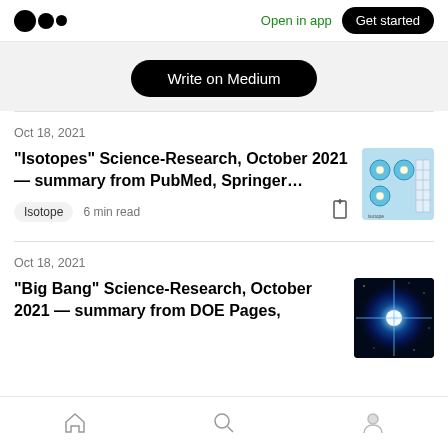Medium logo | Open in app | Get started
Write on Medium
Oct 18, 2021
“Isotopes” Science-Research, October 2021 — summary from PubMed, Springer…
Isotope  6 min read
[Figure (illustration): Thumbnail image showing isotope diagrams with blue circular atomic models and data table]
Oct 18, 2021
“Big Bang” Science-Research, October 2021 — summary from DOE Pages,
[Figure (photo): Thumbnail image of Big Bang - dark blue space explosion with bright blue light burst]
Home | Search | Profile